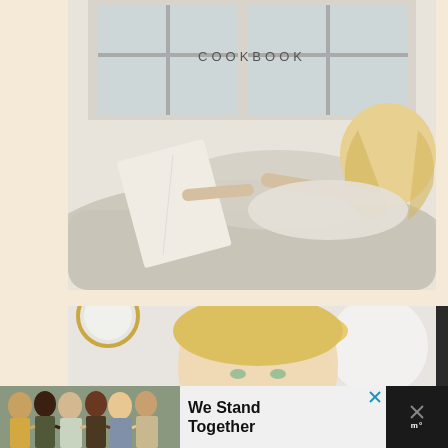[Figure (photo): Woman with blonde hair lying on a beige sofa reading a cookbook, bright window in background. Text 'COOKBOOK' overlaid at top center.]
[Figure (photo): Close-up photo of a blonde woman's face, partially cropped, smiling, blurred white background.]
[Figure (photo): Advertisement banner at bottom: group of diverse people seen from behind with arms around each other, with text 'We Stand Together' and a logo icon on the right.]